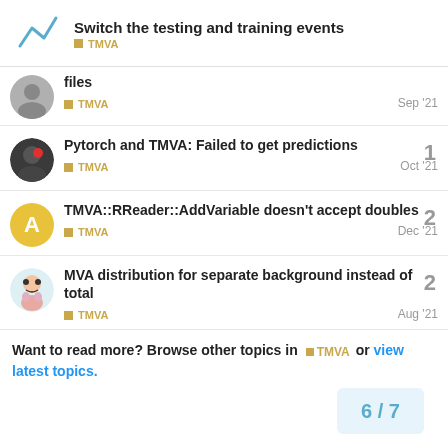Switch the testing and training events — TMVA
files — TMVA — Sep '21
Pytorch and TMVA: Failed to get predictions — TMVA — Oct '21 — 1 reply
TMVA::RReader::AddVariable doesn't accept doubles — TMVA — Dec '21 — 2 replies
MVA distribution for separate background instead of total — TMVA — Aug '21 — 2 replies
Want to read more? Browse other topics in TMVA or view latest topics. 6 / 7